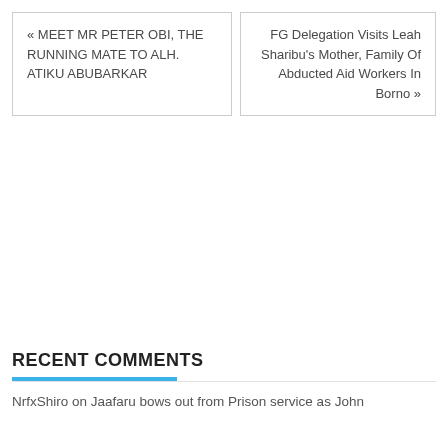« MEET MR PETER OBI, THE RUNNING MATE TO ALH. ATIKU ABUBARKAR
FG Delegation Visits Leah Sharibu's Mother, Family Of Abducted Aid Workers In Borno »
RECENT COMMENTS
NrfxShiro on Jaafaru bows out from Prison service as John